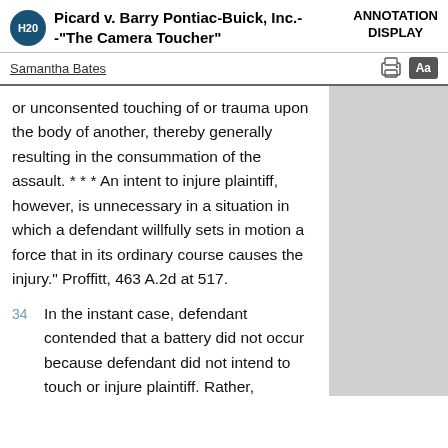Picard v. Barry Pontiac-Buick, Inc.-
-"The Camera Toucher"
ANNOTATION DISPLAY
Samantha Bates
or unconsented touching of or trauma upon the body of another, thereby generally resulting in the consummation of the assault. * * * An intent to injure plaintiff, however, is unnecessary in a situation in which a defendant willfully sets in motion a force that in its ordinary course causes the injury." Proffitt, 463 A.2d at 517.
34	In the instant case, defendant contended that a battery did not occur because defendant did not intend to touch or injure plaintiff. Rather, defendant argued, the evidence showed that he intended to touch...